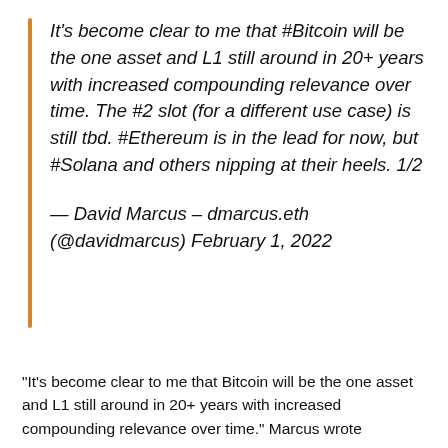It's become clear to me that #Bitcoin will be the one asset and L1 still around in 20+ years with increased compounding relevance over time. The #2 slot (for a different use case) is still tbd. #Ethereum is in the lead for now, but #Solana and others nipping at their heels. 1/2

— David Marcus – dmarcus.eth (@davidmarcus) February 1, 2022
"It's become clear to me that Bitcoin will be the one asset and L1 still around in 20+ years with increased compounding relevance over time." Marcus wrote